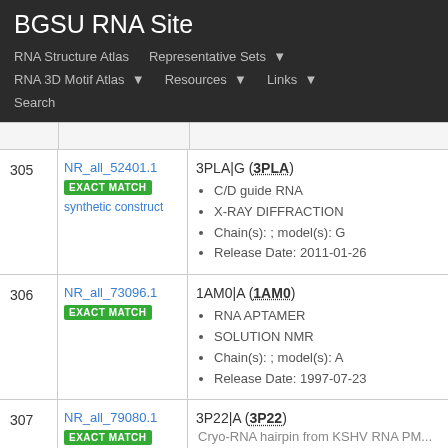BGSU RNA Site
RNA Structure Atlas
Representative Sets
RNA 3D Motif Atlas
Resources
Links
Search
| # | ID | Info |
| --- | --- | --- |
| 305 | NR_all_52401.1
EXACT MATCH
synthetic construct | 3PLA|G (3PLA)
C/D guide RNA
X-RAY DIFFRACTION
Chain(s): ; model(s): G
Release Date: 2011-01-26 |
| 306 | NR_all_73096.1
EXACT MATCH | 1AM0|A (1AM0)
RNA APTAMER
SOLUTION NMR
Chain(s): ; model(s): A
Release Date: 1997-07-23 |
| 307 | NR_all_79080.1
EXACT MATCH | 3P22|A (3P22) |